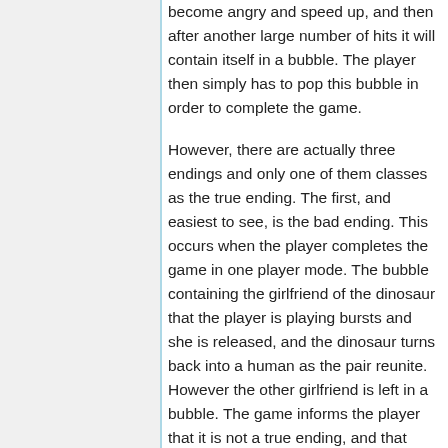become angry and speed up, and then after another large number of hits it will contain itself in a bubble. The player then simply has to pop this bubble in order to complete the game.
However, there are actually three endings and only one of them classes as the true ending. The first, and easiest to see, is the bad ending. This occurs when the player completes the game in one player mode. The bubble containing the girlfriend of the dinosaur that the player is playing bursts and she is released, and the dinosaur turns back into a human as the pair reunite. However the other girlfriend is left in a bubble. The game informs the player that it is not a true ending, and that they should never forget their friend. The player is then moved back several levels and can